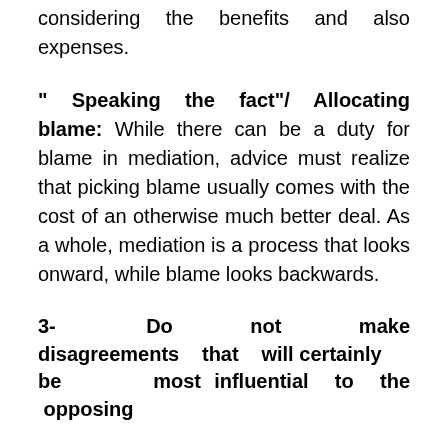considering the benefits and also expenses.
" Speaking the fact"/ Allocating blame: While there can be a duty for blame in mediation, advice must realize that picking blame usually comes with the cost of an otherwise much better deal. As a whole, mediation is a process that looks onward, while blame looks backwards.
3- Do not make disagreements that will certainly be most influential to the opposing